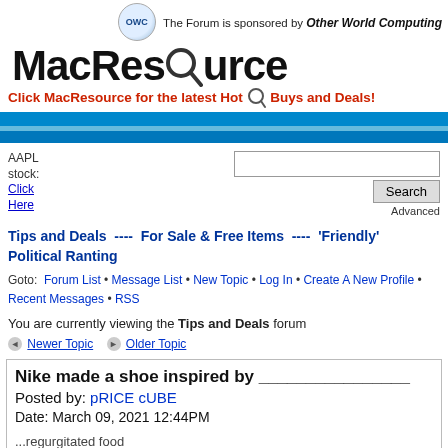The Forum is sponsored by Other World Computing
[Figure (logo): MacResource logo with magnifying glass replacing the 'o']
Click MacResource for the latest Hot Buys and Deals!
AAPL stock: Click Here
Tips and Deals  ----  For Sale & Free Items  ----  'Friendly' Political Ranting
Goto: Forum List • Message List • New Topic • Log In • Create A New Profile • Recent Messages • RSS
You are currently viewing the Tips and Deals forum
◄ Newer Topic   ► Older Topic
Nike made a shoe inspired by ________________
Posted by: pRICE cUBE
Date: March 09, 2021 12:44PM

...regurgitated food